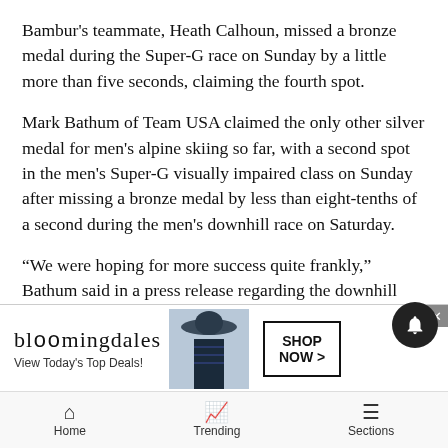Bambur's teammate, Heath Calhoun, missed a bronze medal during the Super-G race on Sunday by a little more than five seconds, claiming the fourth spot.
Mark Bathum of Team USA claimed the only other silver medal for men's alpine skiing so far, with a second spot in the men's Super-G visually impaired class on Sunday after missing a bronze medal by less than eight-tenths of a second during the men's downhill race on Saturday.
“We were hoping for more success quite frankly,” Bathum said in a press release regarding the downhill race on Saturday. “It’s a fantastic course. I mean it runs down where the men’s Olympic downhill race it’s the ... since the la... really
[Figure (screenshot): Bloomingdale's advertisement overlay with text 'View Today's Top Deals!' and 'SHOP NOW >' button, and a close (x) button in the top right corner]
[Figure (other): Dark circular notification bell icon in the bottom-right area]
Home   Trending   Sections